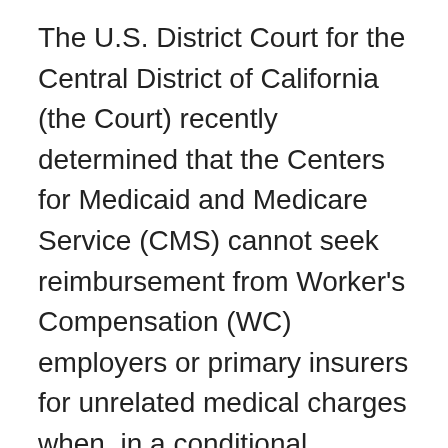The U.S. District Court for the Central District of California (the Court) recently determined that the Centers for Medicaid and Medicare Service (CMS) cannot seek reimbursement from Worker's Compensation (WC) employers or primary insurers for unrelated medical charges when, in a conditional payment case, the health care provider's bill includes codes for medical conditions unrelated to the WC claim. The ruling in the California Insurance Guarantee Association vs. Burwell case gives WC claimants, their employers and their insurers an opportunity to dispute CMS demands for reimbursement for all coded services, regardless of whether they were